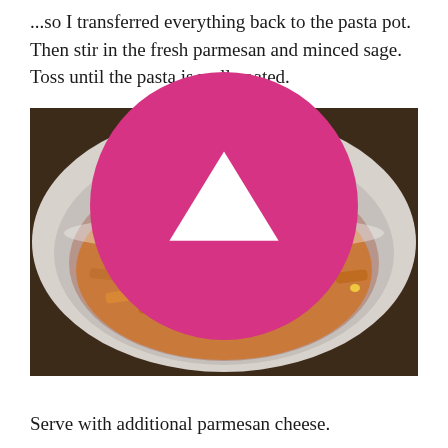...so I transferred everything back to the pasta pot. Then stir in the fresh parmesan and minced sage. Toss until the pasta is well coated.
[Figure (photo): A white bowl filled with pasta topped with shredded parmesan cheese and fresh sage leaves, photographed on a wooden surface.]
Serve with additional parmesan cheese.